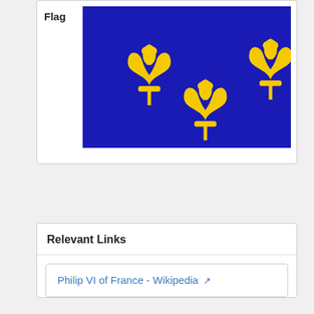| Flag |  |
| --- | --- |
| Flag | [Fleur-de-lis flag image: blue background with gold fleur-de-lis] |
Relevant Links
Philip VI of France - Wikipedia [external link]